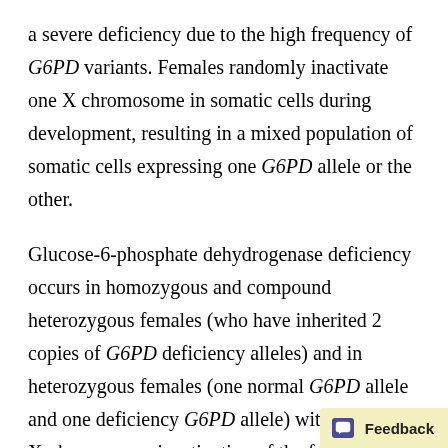a severe deficiency due to the high frequency of G6PD variants. Females randomly inactivate one X chromosome in somatic cells during development, resulting in a mixed population of somatic cells expressing one G6PD allele or the other.
Glucose-6-phosphate dehydrogenase deficiency occurs in homozygous and compound heterozygous females (who have inherited 2 copies of G6PD deficiency alleles) and in heterozygous females (one normal G6PD allele and one deficiency G6PD allele) with skewed X-chromosome inactivation of the functional allele (9). Genetic testing alone is insufficient for heterozygous females with one normal fu...